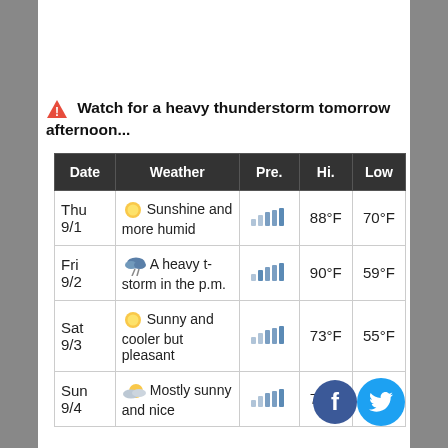⚠ Watch for a heavy thunderstorm tomorrow afternoon...
| Date | Weather | Pre. | Hi. | Low |
| --- | --- | --- | --- | --- |
| Thu 9/1 | ☀ Sunshine and more humid | ▪▪▪▪▪ | 88°F | 70°F |
| Fri 9/2 | ⛈ A heavy t-storm in the p.m. | ▪▪▪▪▪ | 90°F | 59°F |
| Sat 9/3 | ☀ Sunny and cooler but pleasant | ▪▪▪▪▪ | 73°F | 55°F |
| Sun 9/4 | 🌤 Mostly sunny and nice | ▪▪▪▪▪ | 72°F | 65°F |